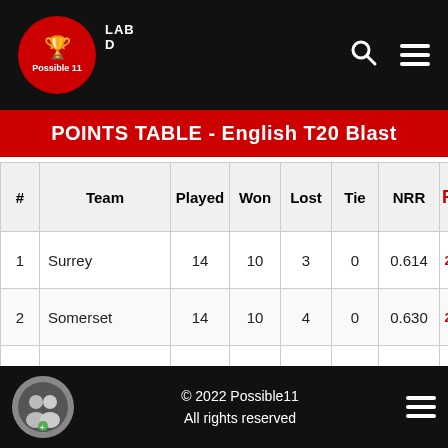[Figure (logo): Possible11 logo in red circle with trophy icon]
POINTS TABLE - English T20 Blast
| # | Team | Played | Won | Lost | Tie | NRR | Pts |
| --- | --- | --- | --- | --- | --- | --- | --- |
| 1 | Surrey | 14 | 10 | 3 | 0 | 0.614 |  |
| 2 | Somerset | 14 | 10 | 4 | 0 | 0.630 |  |
| 3 | Essex | 14 | 9 | 4 | 0 | 0.881 |  |
| 4 | Warwickshire | 14 | 9 | 5 | 0 | 1.347 |  |
| 5 | Hampshire | 14 | 9 | 5 | 0 | 0.772 |  |
| 6 | Lancashire | 14 | 8 | 4 | 1 | 0.432 |  |
| 7 | Derbyshire | 14 |  | 5 | 0 | 0. |  |
© 2022 Possible11
All rights reserved